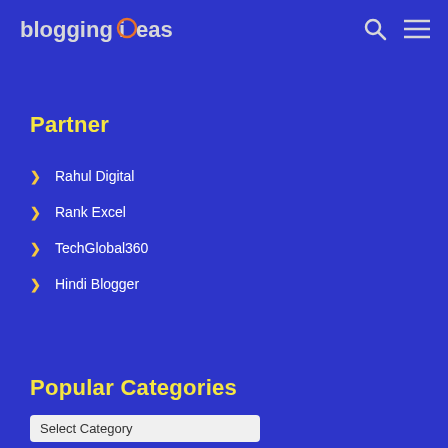blogging ideas [navigation with search and menu icons]
Partner
Rahul Digital
Rank Excel
TechGlobal360
Hindi Blogger
Popular Categories
Select Category